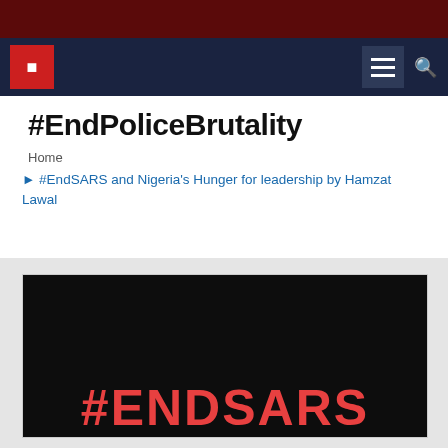[top dark red banner]
[navigation bar with logo, hamburger menu, search icon]
#EndPoliceBrutality
Home
❯ #EndSARS and Nigeria's Hunger for leadership by Hamzat Lawal
[Figure (photo): Black background image with large red bold text reading #ENDSARS]